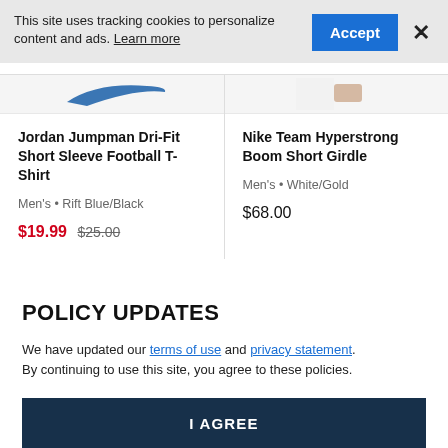This site uses tracking cookies to personalize content and ads. Learn more
Accept
×
Jordan Jumpman Dri-Fit Short Sleeve Football T-Shirt
Men's · Rift Blue/Black
$19.99  $25.00
Nike Team Hyperstrong Boom Short Girdle
Men's · White/Gold
$68.00
POLICY UPDATES
We have updated our terms of use and privacy statement. By continuing to use this site, you agree to these policies.
I AGREE